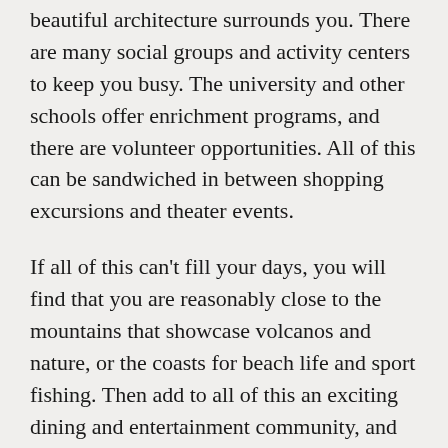beautiful architecture surrounds you. There are many social groups and activity centers to keep you busy. The university and other schools offer enrichment programs, and there are volunteer opportunities. All of this can be sandwiched in between shopping excursions and theater events.
If all of this can't fill your days, you will find that you are reasonably close to the mountains that showcase volcanos and nature, or the coasts for beach life and sport fishing. Then add to all of this an exciting dining and entertainment community, and your social calendar is full.